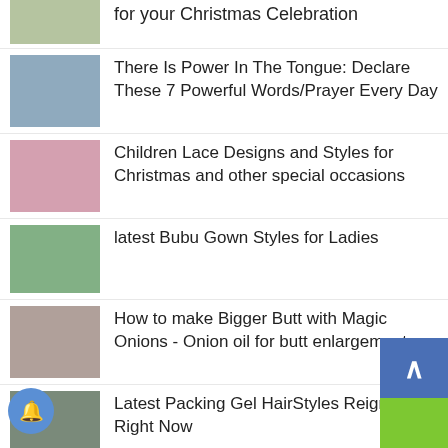for your Christmas Celebration
There Is Power In The Tongue: Declare These 7 Powerful Words/Prayer Every Day
Children Lace Designs and Styles for Christmas and other special occasions
latest Bubu Gown Styles for Ladies
How to make Bigger Butt with Magic Onions - Onion oil for butt enlargement
Latest Packing Gel HairStyles Reigning Right Now
10 Photos Underage Pregnant Girls at Age 10, 11, 12 - Child Pregnancy
Latest Short Lace Gown Styles for Weddings and Party 2022
Ankara and Lace blouse and Wrapp Styles for Every Occasion